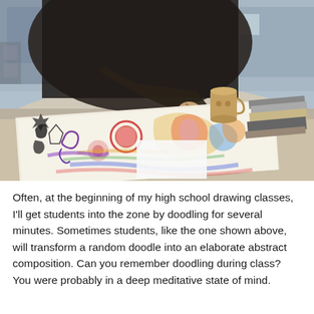[Figure (photo): A person wearing a dark jacket leans over a white table, drawing with a pencil on a large sheet of paper covered in colorful, elaborate doodles with swirls, abstract figures, and vivid crayon colors. A ceramic mug and stacked sketchbooks/notebooks are on the table beside the drawing.]
Often, at the beginning of my high school drawing classes, I'll get students into the zone by doodling for several minutes. Sometimes students, like the one shown above, will transform a random doodle into an elaborate abstract composition. Can you remember doodling during class? You were probably in a deep meditative state of mind.